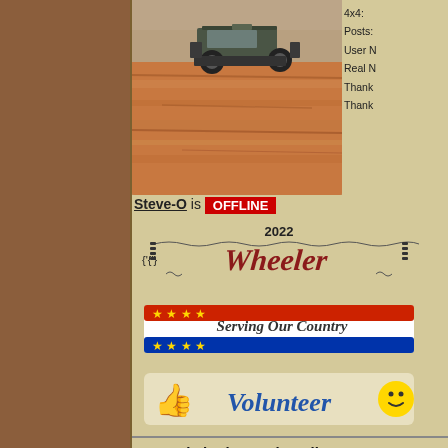[Figure (photo): Jeep 4x4 vehicle driving over large red rock slabs, off-road scene]
Steve-O is OFFLINE
[Figure (illustration): 2022 Wheeler badge with tire track decorations]
[Figure (illustration): Serving Our Country badge with stars and flag colors]
[Figure (illustration): Volunteer badge with thumbs up and smiley face]
4x4:
Posts:
User N
Real N
Thank
Thank
Re: Hole in the Rock Trail - May 14-18
Matt I'm definitely in, been planning for a while now to take off work
Steven
2004 Wrangler Rubicon
BACK TO TOP